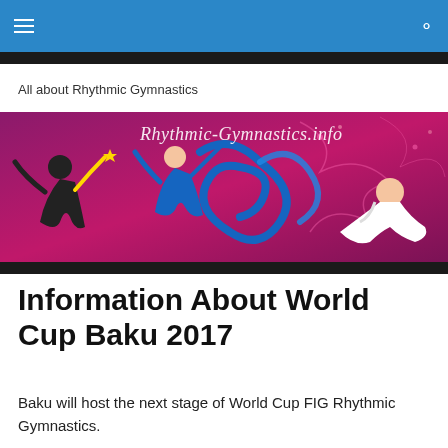≡  🔍
All about Rhythmic Gymnastics
[Figure (photo): Rhythmic Gymnastics banner with magenta/pink background showing gymnasts performing with ribbons and apparatus, with cursive text 'Rhythmic-Gymnastics.info']
Information About World Cup Baku 2017
Baku will host the next stage of World Cup FIG Rhythmic Gymnastics.